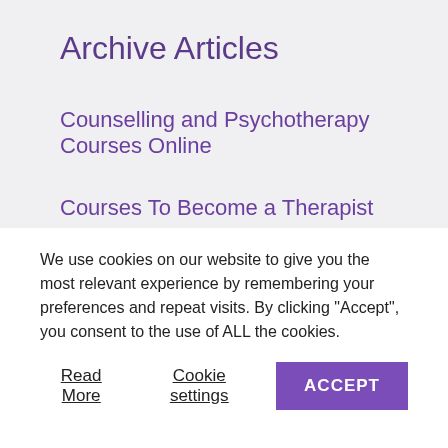Archive Articles
Counselling and Psychotherapy Courses Online
Courses To Become a Therapist
e-learning
We use cookies on our website to give you the most relevant experience by remembering your preferences and repeat visits. By clicking “Accept”, you consent to the use of ALL the cookies.
Read More   Cookie settings   ACCEPT